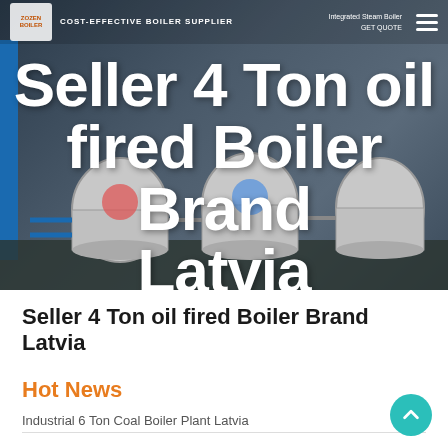[Figure (photo): Hero image showing industrial oil-fired boilers in a factory setting with blue steel framing. A navigation bar overlays the top with a logo and hamburger menu. Large white bold text overlays the image reading 'Seller 4 Ton oil fired Boiler Brand Latvia' with a teal underline accent.]
Seller 4 Ton oil fired Boiler Brand Latvia
Hot News
Industrial 6 Ton Coal Boiler Plant Latvia